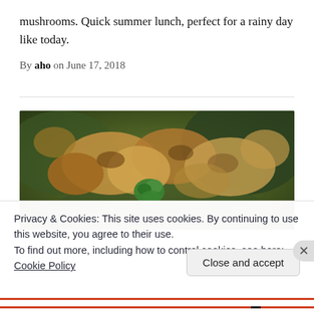mushrooms. Quick summer lunch, perfect for a rainy day like today.
By aho on June 17, 2018
[Figure (photo): A close-up photo of food, appearing to show mushrooms or a cooked dish with green herb garnish, on a dark green background.]
Privacy & Cookies: This site uses cookies. By continuing to use this website, you agree to their use.
To find out more, including how to control cookies, see here: Cookie Policy
Close and accept